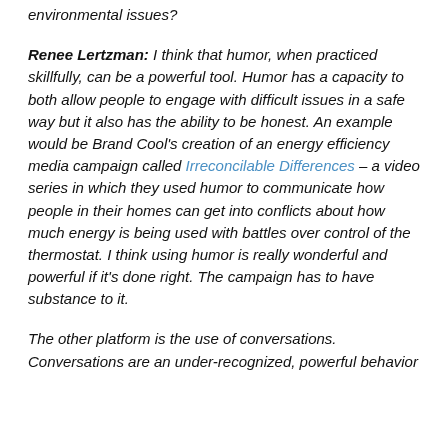environmental issues?
Renee Lertzman: I think that humor, when practiced skillfully, can be a powerful tool. Humor has a capacity to both allow people to engage with difficult issues in a safe way but it also has the ability to be honest. An example would be Brand Cool's creation of an energy efficiency media campaign called Irreconcilable Differences – a video series in which they used humor to communicate how people in their homes can get into conflicts about how much energy is being used with battles over control of the thermostat. I think using humor is really wonderful and powerful if it's done right. The campaign has to have substance to it.
The other platform is the use of conversations. Conversations are an under-recognized, powerful behavior